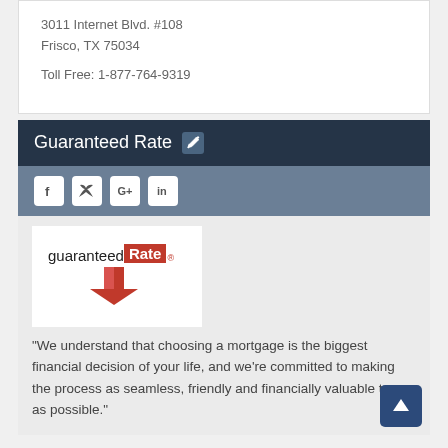3011 Internet Blvd. #108
Frisco, TX 75034
Toll Free: 1-877-764-9319
Guaranteed Rate
[Figure (logo): Guaranteed Rate logo with red shield/arrow pointing down]
"We understand that choosing a mortgage is the biggest financial decision of your life, and we're committed to making the process as seamless, friendly and financially valuable to you as possible."